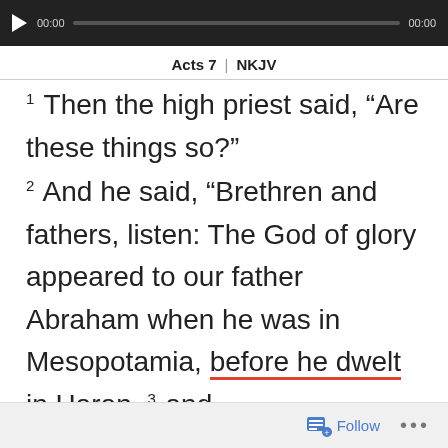[Figure (other): Audio/video media player bar with play button, timestamp 00:00, progress bar, and end time 00:00]
Acts 7 | NKJV
1 Then the high priest said, “Are these things so?”
2 And he said, “Brethren and fathers, listen: The God of glory appeared to our father Abraham when he was in Mesopotamia, before he dwelt in Haran, 3 and said to him, ‘Get out of your
Follow ...